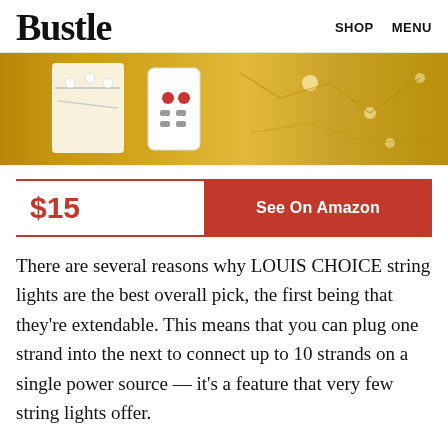Bustle   SHOP   MENU
[Figure (photo): Product photo of string lights with battery pack and remote control on a golden background]
$15   See On Amazon
There are several reasons why LOUIS CHOICE string lights are the best overall pick, the first being that they're extendable. This means that you can plug one strand into the next to connect up to 10 strands on a single power source — it's a feature that very few string lights offer.